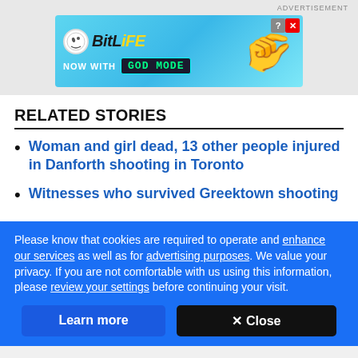[Figure (illustration): BitLife game advertisement banner with 'NOW WITH GOD MODE' text, hand pointing graphic, on cyan/blue background. Close (X) and help (?) buttons in top right corner.]
RELATED STORIES
Woman and girl dead, 13 other people injured in Danforth shooting in Toronto
Witnesses who survived Greektown shooting
Please know that cookies are required to operate and enhance our services as well as for advertising purposes. We value your privacy. If you are not comfortable with us using this information, please review your settings before continuing your visit.